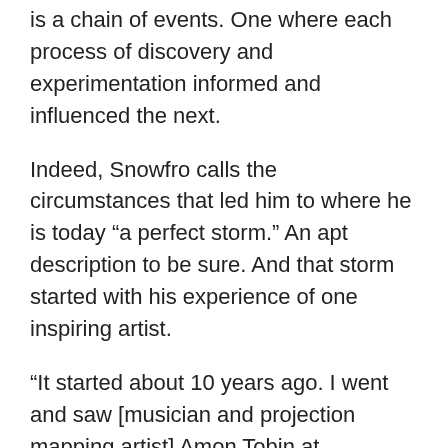is a chain of events. One where each process of discovery and experimentation informed and influenced the next.
Indeed, Snowfro calls the circumstances that led him to where he is today “a perfect storm.” An apt description to be sure. And that storm started with his experience of one inspiring artist.
“It started about 10 years ago. I went and saw [musician and projection mapping artist] Amon Tobin at Coachella. I saw one of his pieces and it was just this beautiful projection.”
To sum up, projection mapping is an art form that involves using objects – whether irregular shapes, sculptures, or even buildings – as surfaces for video projection. And often that fateful Coachella display